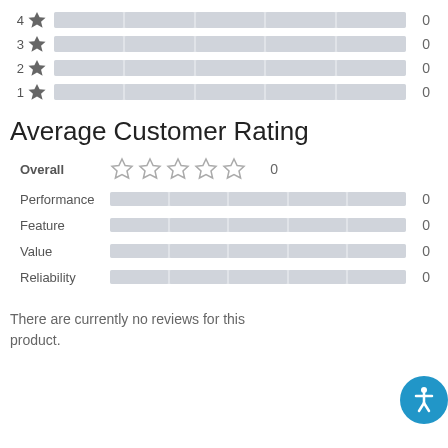[Figure (other): Star rating distribution bars for 4-star, 3-star, 2-star, 1-star ratings, all showing 0 reviews each]
Average Customer Rating
| Category | Rating Stars/Bar | Score |
| --- | --- | --- |
| Overall | 5 empty stars | 0 |
| Performance | segmented bar | 0 |
| Feature | segmented bar | 0 |
| Value | segmented bar | 0 |
| Reliability | segmented bar | 0 |
There are currently no reviews for this product.